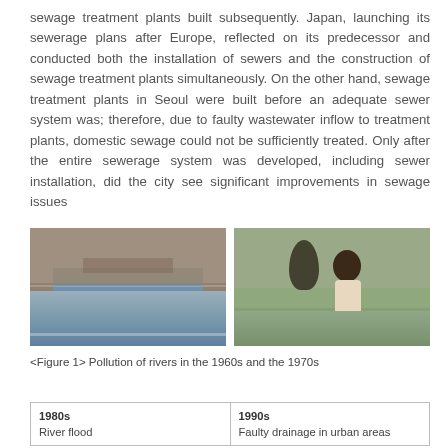sewage treatment plants built subsequently. Japan, launching its sewerage plans after Europe, reflected on its predecessor and conducted both the installation of sewers and the construction of sewage treatment plants simultaneously. On the other hand, sewage treatment plants in Seoul were built before an adequate sewer system was; therefore, due to faulty wastewater inflow to treatment plants, domestic sewage could not be sufficiently treated. Only after the entire sewerage system was developed, including sewer installation, did the city see significant improvements in sewage issues
[Figure (photo): Two photographs side by side showing river pollution. Left: concrete sewage channel with water flowing. Right: child crouching near dead fish in a polluted river.]
<Figure 1> Pollution of rivers in the 1960s and the 1970s
| 1980s | 1990s |
| --- | --- |
| River flood | Faulty drainage in urban areas |